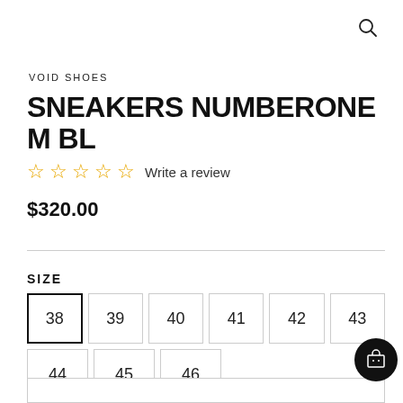Search icon
VOID SHOES
SNEAKERS NUMBERONE M BL
☆☆☆☆☆ Write a review
$320.00
SIZE
| 38 | 39 | 40 | 41 | 42 | 43 |
| 44 | 45 | 46 |